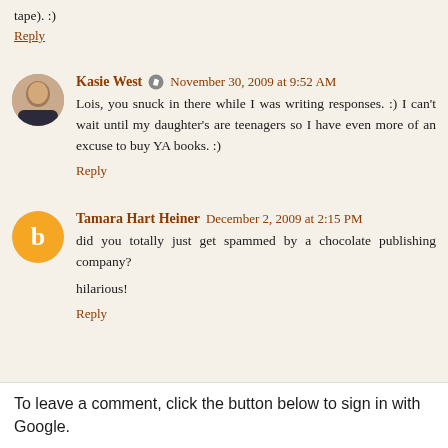tape). :)
Reply
Kasie West  November 30, 2009 at 9:52 AM
Lois, you snuck in there while I was writing responses. :) I can't wait until my daughter's are teenagers so I have even more of an excuse to buy YA books. :)
Reply
Tamara Hart Heiner  December 2, 2009 at 2:15 PM
did you totally just get spammed by a chocolate publishing company?
hilarious!
Reply
To leave a comment, click the button below to sign in with Google.